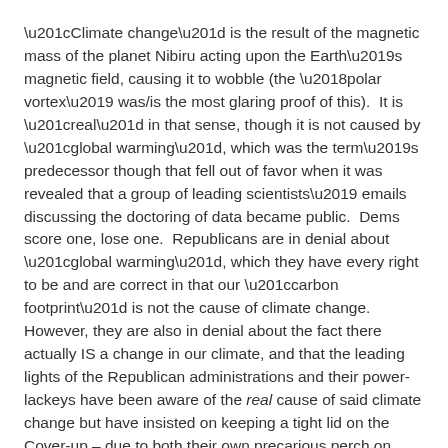“Climate change” is the result of the magnetic mass of the planet Nibiru acting upon the Earth’s magnetic field, causing it to wobble (the ‘polar vortex’ was/is the most glaring proof of this).  It is “real” in that sense, though it is not caused by “global warming”, which was the term’s predecessor though that fell out of favor when it was revealed that a group of leading scientists’ emails discussing the doctoring of data became public.  Dems score one, lose one.  Republicans are in denial about “global warming”, which they have every right to be and are correct in that our “carbon footprint” is not the cause of climate change.  However, they are also in denial about the fact there actually IS a change in our climate, and that the leading lights of the Republican administrations and their power-lackeys have been aware of the real cause of said climate change but have insisted on keeping a tight lid on the Cover-up – due to both their own precarious perch on privilege as well as the probability of public panic were it widely known. GOP loses one, scores one.
And so we await the Great Admission that will finally and reluctantly come from the socialist dictator waiting in the